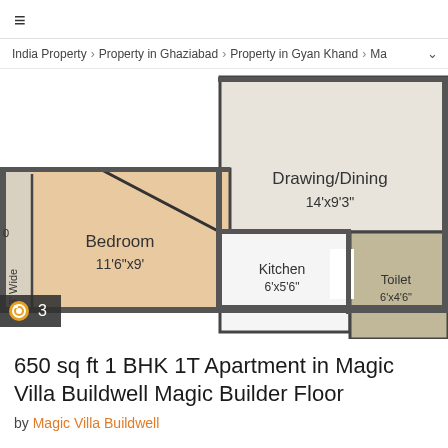≡
India Property › Property in Ghaziabad › Property in Gyan Khand › Ma
[Figure (engineering-diagram): Floor plan showing Bedroom 11'6"x9', Drawing/Dining 14'x9'3", Kitchen 6'x5'6", Toilet 6'x4'6"]
650 sq ft 1 BHK 1T Apartment in Magic Villa Buildwell Magic Builder Floor
by Magic Villa Buildwell